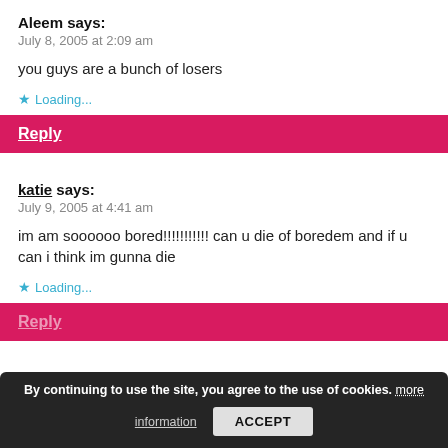Aleem says:
July 8, 2005 at 2:09 am
you guys are a bunch of losers
Loading...
Reply
katie says:
July 9, 2005 at 4:41 am
im am soooooo bored!!!!!!!!!!! can u die of boredem and if u can i think im gunna die
Loading...
Reply
By continuing to use the site, you agree to the use of cookies. more information
ACCEPT